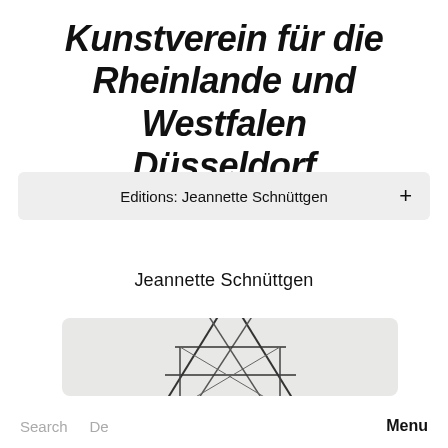Kunstverein für die Rheinlande und Westfalen Düsseldorf
Editions: Jeannette Schnüttgen
Jeannette Schnüttgen
[Figure (illustration): Architectural line drawing of a house/greenhouse structure on a light grey background, showing diagonal roof beams, vertical supports, and horizontal elements forming a schematic building outline.]
Search  De  Menu